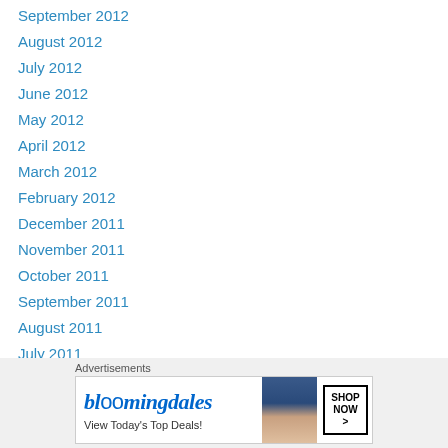September 2012
August 2012
July 2012
June 2012
May 2012
April 2012
March 2012
February 2012
December 2011
November 2011
October 2011
September 2011
August 2011
July 2011
June 2011
May 2011
[Figure (screenshot): Bloomingdales advertisement banner: 'View Today's Top Deals!' with SHOP NOW button and model wearing hat]